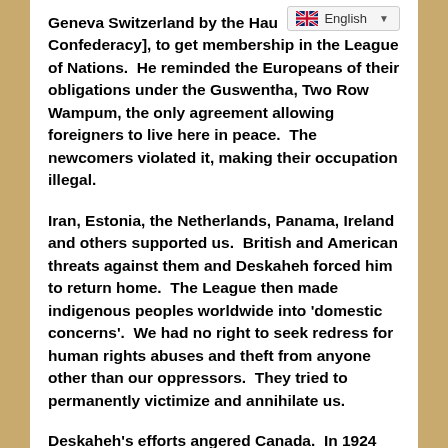Geneva Switzerland by the Hau[denosaunee Confederacy], to get membership in the League of Nations.  He reminded the Europeans of their obligations under the Guswentha, Two Row Wampum, the only agreement allowing foreigners to live here in peace.  The newcomers violated it, making their occupation illegal.
Iran, Estonia, the Netherlands, Panama, Ireland and others supported us.  British and American threats against them and Deskaheh forced him to return home.  The League then made indigenous peoples worldwide into 'domestic concerns'.  We had no right to seek redress for human rights abuses and theft from anyone other than our oppressors.  They tried to permanently victimize and annihilate us.
Deskaheh's efforts angered Canada.  In 1924 the RCMP forcibly removed the traditional Haudenosaunee government, and created the Indian Advancement Act, apartheid and the concentration